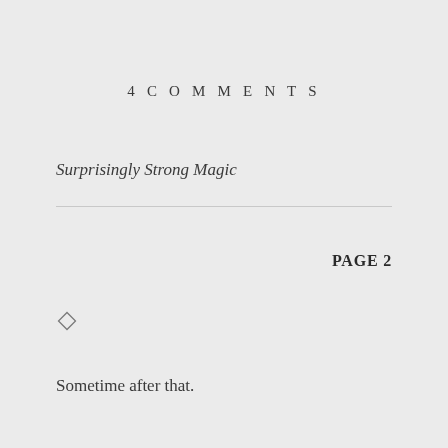4 COMMENTS
Surprisingly Strong Magic
PAGE 2
◇
Sometime after that.